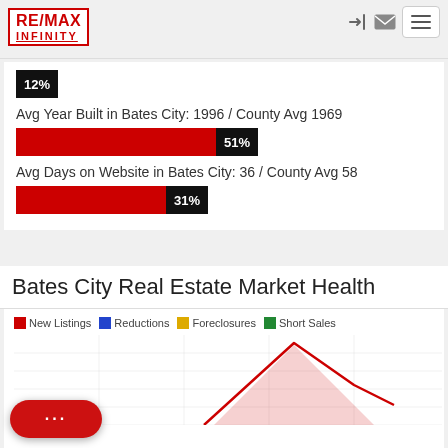[Figure (logo): RE/MAX INFINITY logo in red with border]
12%
Avg Year Built in Bates City: 1996 / County Avg 1969
51%
Avg Days on Website in Bates City: 36 / County Avg 58
31%
Bates City Real Estate Market Health
[Figure (line-chart): Partially visible line chart showing New Listings (red), Reductions (blue), Foreclosures (orange), Short Sales (green) over time. Only the top portion is visible.]